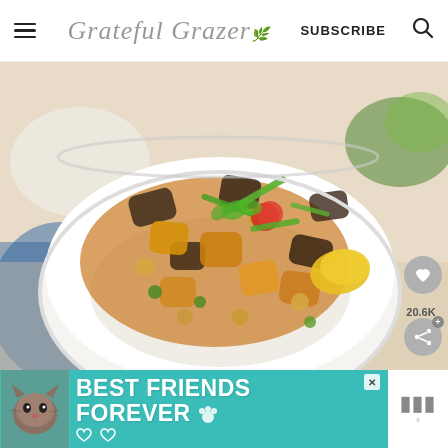Grateful Grazer | SUBSCRIBE
[Figure (photo): A bowl of roasted vegetable curry with chickpeas, eggplant, bell peppers, cherry tomatoes, and green onions over rice, garnished with cilantro. Side buttons: heart/save button and share button with 20.6K count.]
[Figure (infographic): Teal advertisement banner showing a cat photo with text 'BEST FRIENDS FOREVER' and heart icons, with a close X button.]